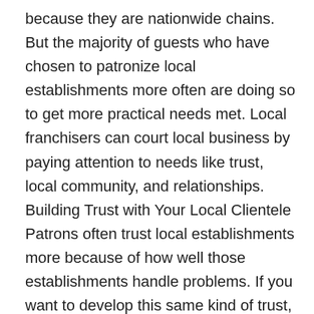because they are nationwide chains. But the majority of guests who have chosen to patronize local establishments more often are doing so to get more practical needs met. Local franchisers can court local business by paying attention to needs like trust, local community, and relationships.  Building Trust with Your Local Clientele Patrons often trust local establishments more because of how well those establishments handle problems. If you want to develop this same kind of trust, make sure you handle any complaints as quickly as possible and with maximum attention paid to your customer.  It doesn't matter whether you live in an urban, suburban, or rural area: friendly, personalized attention when a problem arises is something that guests associate with “down home” mom & pop service. And it is this kind of attentiveness will help you create the same level of trust